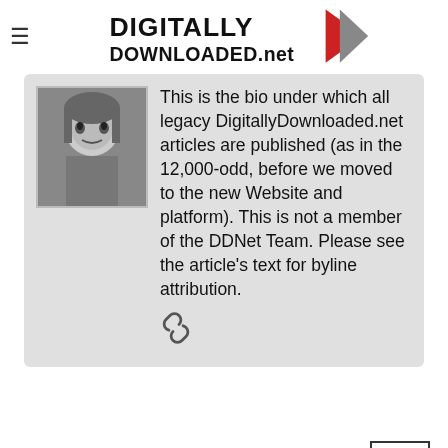DIGITALLY DOWNLOADED.net
This is the bio under which all legacy DigitallyDownloaded.net articles are published (as in the 12,000-odd, before we moved to the new Website and platform). This is not a member of the DDNet Team. Please see the article's text for byline attribution.
0 comments